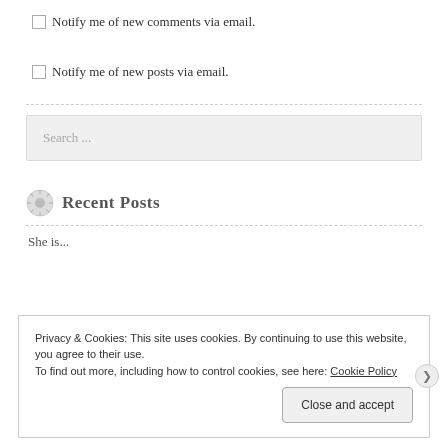Notify me of new comments via email.
Notify me of new posts via email.
Search ...
Recent Posts
She is...
Privacy & Cookies: This site uses cookies. By continuing to use this website, you agree to their use.
To find out more, including how to control cookies, see here: Cookie Policy
Close and accept